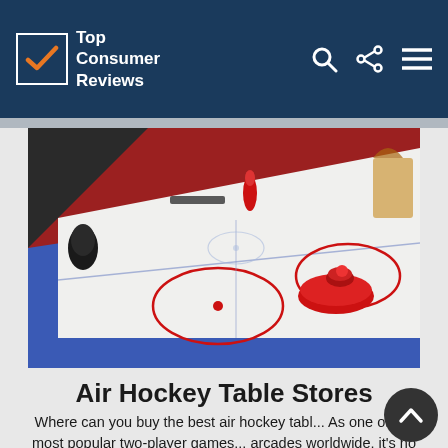Top Consumer Reviews
[Figure (photo): An air hockey table viewed from an angle, showing the white playing surface with red circles and a red puck/striker, with a blue border and red background wall]
Air Hockey Table Stores
Where can you buy the best air hockey tabl... As one of the most popular two-player games... arcades worldwide, it's no surprise that air